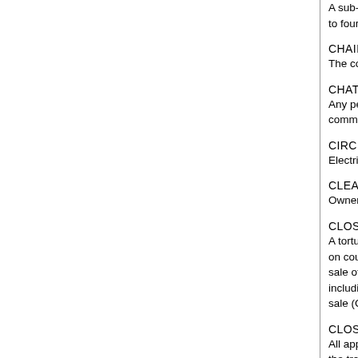A sub-classification of appraiser who is only licensed to four units.
CHAIN OF TITLE  Back to top
The complete history of ownership of a piece...
CHATTEL  Back to top
Any personal property which is not attached to... commonly taken into consideration when app...
CIRCUIT BREAKERS  Back to top
Electrical devices which automatically open e...
CLEAR TITLE  Back to top
Ownership of property that is not encumbered...
CLOSING  Back to top
A torturous process designed to induce cramp... on countless pieces of documentation that no... sale of a property is consummated with the b... including signing the mortgage obligation and... sale (CLOSING COSTS).
CLOSING COSTS  Back to top
All appropriate costs generated by the sale of... the transaction. Costs may include appraisal... points negotiated in the deal.
CLOSING STATEMENT  Back to top
The document detailing the final financial arra... paid by each.
CO-BORROWER  Back to top